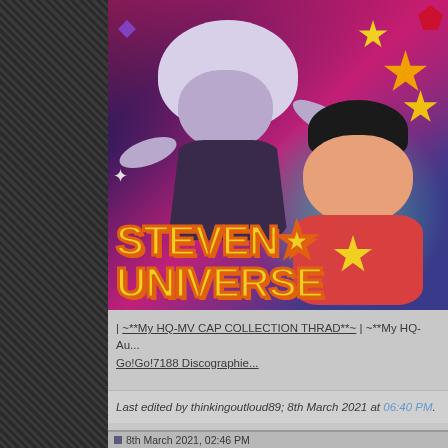[Figure (illustration): Steven Universe animated show promotional image showing Amethyst character with white hair floating in the center, Steven Universe character on the right wearing a red star shirt, colorful pink/purple/teal background with stars and gems. The Steven Universe logo appears at the bottom left of the image in yellow lettering with orange outline.]
| ~**My HQ-MV CAP COLLECTION THRAD**~ | ~**My HQ-Au... Go!Go!7188 Discographie...
Last edited by thinkingoutloud89; 8th March 2021 at 06:40 PM.
8th March 2021, 02:46 PM